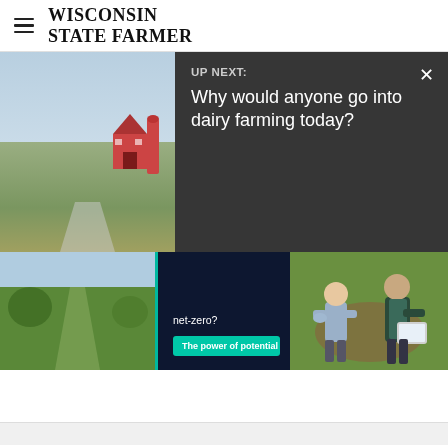WISCONSIN STATE FARMER
[Figure (screenshot): UP NEXT overlay on video player showing 'Why would anyone go into dairy farming today?' with farm thumbnail on left and dark overlay on right with close button]
[Figure (photo): Image strip showing green field on left, dark navy panel with 'net-zero?' text and 'The power of potential' button in middle, and two people examining soil with tablet on right]